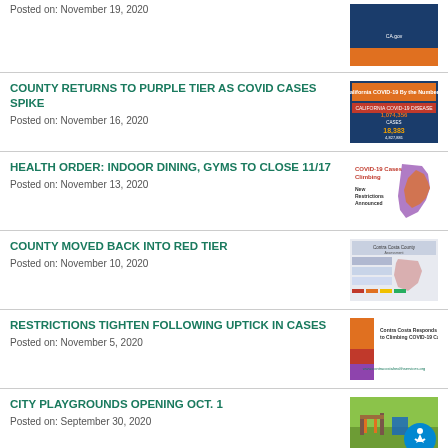Posted on: November 19, 2020
COUNTY RETURNS TO PURPLE TIER AS COVID CASES SPIKE
Posted on: November 16, 2020
HEALTH ORDER: INDOOR DINING, GYMS TO CLOSE 11/17
Posted on: November 13, 2020
COUNTY MOVED BACK INTO RED TIER
Posted on: November 10, 2020
RESTRICTIONS TIGHTEN FOLLOWING UPTICK IN CASES
Posted on: November 5, 2020
CITY PLAYGROUNDS OPENING OCT. 1
Posted on: September 30, 2020